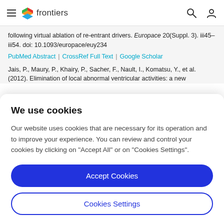frontiers
following virtual ablation of re-entrant drivers. Europace 20(Suppl. 3). iii45–iii54. doi: 10.1093/europace/euy234
PubMed Abstract | CrossRef Full Text | Google Scholar
Jais, P., Maury, P., Khairy, P., Sacher, F., Nault, I., Komatsu, Y., et al. (2012). Elimination of local abnormal ventricular activities: a new
We use cookies
Our website uses cookies that are necessary for its operation and to improve your experience. You can review and control your cookies by clicking on "Accept All" or on "Cookies Settings".
Accept Cookies
Cookies Settings